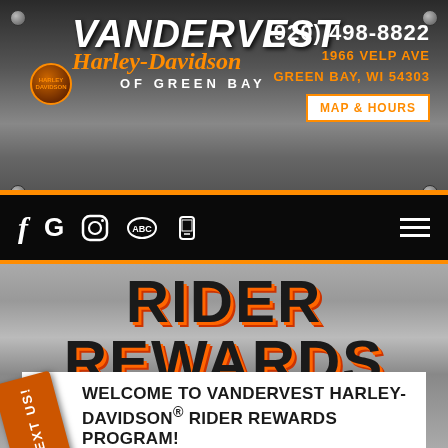[Figure (logo): Vandervest Harley-Davidson of Green Bay logo with dealership name in stylized text]
(920) 498-8822
1966 VELP AVE
GREEN BAY, WI 54303
MAP & HOURS
[Figure (screenshot): Navigation bar with social media icons: Facebook, Google, Instagram, and other icons, plus hamburger menu]
RIDER REWARDS
WELCOME TO VANDERVEST HARLEY-DAVIDSON® RIDER REWARDS PROGRAM!
This program is our way to reward you, our loyal customer, for making Vandervest Harley-Davidson® your first choice in Harley® dealers. The program is easy to